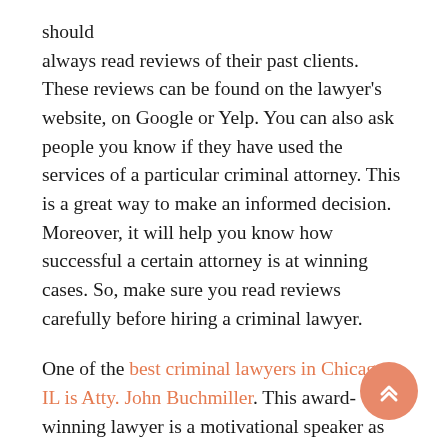should always read reviews of their past clients. These reviews can be found on the lawyer's website, on Google or Yelp. You can also ask people you know if they have used the services of a particular criminal attorney. This is a great way to make an informed decision. Moreover, it will help you know how successful a certain attorney is at winning cases. So, make sure you read reviews carefully before hiring a criminal lawyer.

One of the best criminal lawyers in Chicago, IL is Atty. John Buchmiller. This award-winning lawyer is a motivational speaker as well as a top-rated criminal lawyer. He has vast experience in criminal matters and has won numerous cases for his cli... His firm has also won many awards because of his